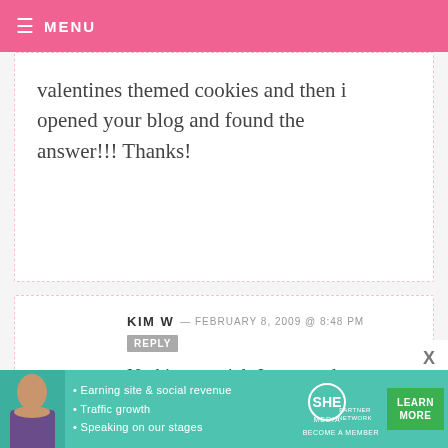≡ MENU
valentines themed cookies and then i opened your blog and found the answer!!! Thanks!
KIM W — FEBRUARY 8, 2009 @ 8:48 PM  REPLY
Nothing special. Just a card.
COURTNEY — FEBRUARY 8, 2009 @ 8:47 PM  REPLY
[Figure (infographic): SHE Partner Network advertisement banner with photo of a woman, bullet points about Earning site & social revenue, Traffic growth, Speaking on our stages, SHE logo, and LEARN MORE button]